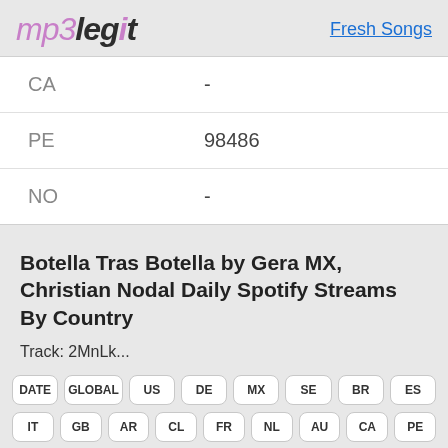mp3legit   Fresh Songs
| Country | Streams |
| --- | --- |
| CA | - |
| PE | 98486 |
| NO | - |
Botella Tras Botella by Gera MX, Christian Nodal Daily Spotify Streams By Country
Track: 2MnLk...
| DATE | GLOBAL | US | DE | MX | SE | BR | ES | IT | GB | AR | CL | FR | NL | AU | CA | PE |
| --- | --- | --- | --- | --- | --- | --- | --- | --- | --- | --- | --- | --- | --- | --- | --- | --- |